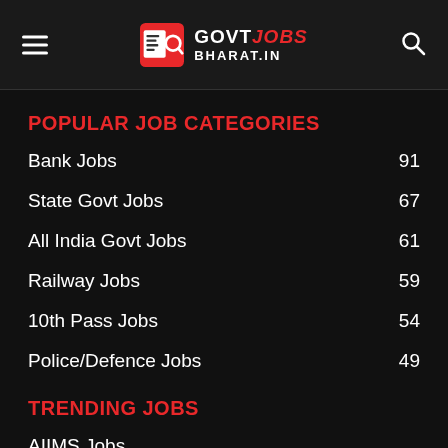GOVTJOBS BHARAT.IN
POPULAR JOB CATEGORIES
Bank Jobs 91
State Govt Jobs 67
All India Govt Jobs 61
Railway Jobs 59
10th Pass Jobs 54
Police/Defence Jobs 49
TRENDING JOBS
AIIMS Jobs
Air Force Jobs